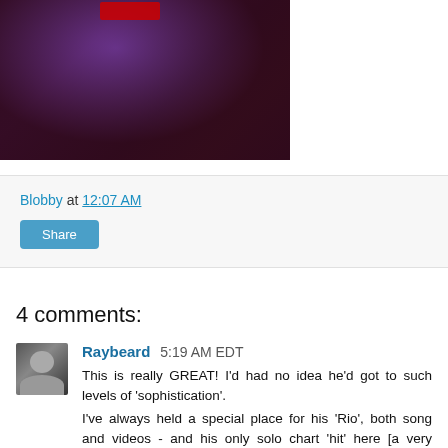[Figure (photo): Partial photo of a person with dark hair and beard wearing a purple/dark outfit, with a red element partially visible at the top]
Blobby at 12:07 AM
Share
4 comments:
[Figure (photo): Small square avatar photo of an older man with white beard]
Raybeard 5:19 AM EDT
This is really GREAT! I'd had no idea he'd got to such levels of 'sophistication'. I've always held a special place for his 'Rio', both song and videos - and his only solo chart 'hit' here [a very modest #26 in '77] - but this 'Cruisin' is a genuine further advance. I'll have to investigate further for what I've missed out on. And, btw, he sure was HOT in his day.